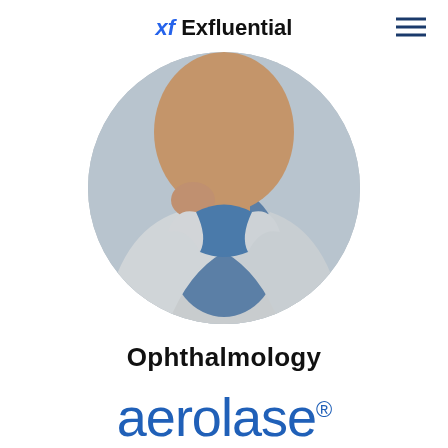xf Exfluential
[Figure (photo): Circular cropped photo of a person wearing a blue collared shirt and light grey jacket, with hand raised near chin.]
Ophthalmology
[Figure (logo): Aerolase logo in blue text with registered trademark symbol]